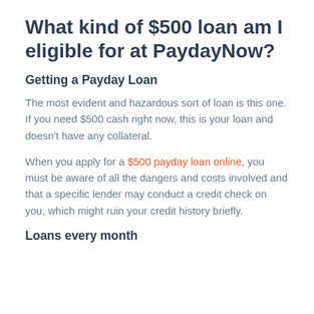What kind of $500 loan am I eligible for at PaydayNow?
Getting a Payday Loan
The most evident and hazardous sort of loan is this one. If you need $500 cash right now, this is your loan and doesn’t have any collateral.
When you apply for a $500 payday loan online, you must be aware of all the dangers and costs involved and that a specific lender may conduct a credit check on you, which might ruin your credit history briefly.
Loans every month